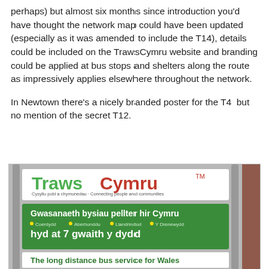perhaps) but almost six months since introduction you'd have thought the network map could have been updated (especially as it was amended to include the T14), details could be included on the TrawsCymru website and branding could be applied at bus stops and shelters along the route as impressively applies elsewhere throughout the network.
In Newtown there's a nicely branded poster for the T4  but no mention of the secret T12.
[Figure (photo): A TrawsCymru branded bus shelter sign in Newtown, showing the TrawsCymru logo (green 'Traws' and red 'Cymru'), with a green panel showing Welsh and English text about long distance bus services for Wales, including routes to Coerdydd, Aberhonddu, Llandrindod, Y Drenewydd, running up to 7 times daily.]